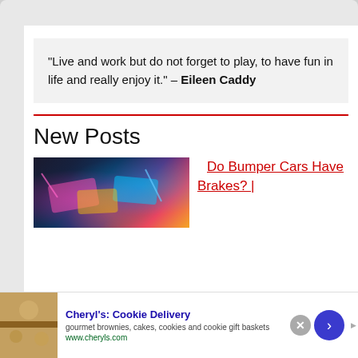“Live and work but do not forget to play, to have fun in life and really enjoy it.” – Eileen Caddy
New Posts
[Figure (photo): Colorful bumper cars illuminated with neon lights in a dark arcade setting]
Do Bumper Cars Have Brakes? |
[Figure (photo): Advertisement banner for Cheryl's Cookie Delivery showing gourmet brownies, cakes, cookies and cookie gift baskets at www.cheryls.com]